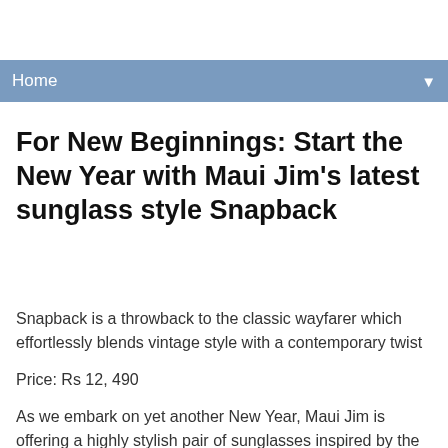Home ▼
For New Beginnings: Start the New Year with Maui Jim's latest sunglass style Snapback
Snapback is a throwback to the classic wayfarer which effortlessly blends vintage style with a contemporary twist
Price: Rs 12, 490
As we embark on yet another New Year, Maui Jim is offering a highly stylish pair of sunglasses inspired by the classic wayfarer but designed for the new age fashion lover. Snapback is the perfect pair for your next adventure as you